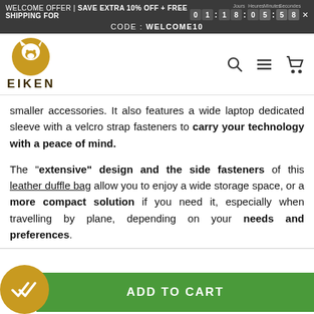WELCOME OFFER | SAVE EXTRA 10% OFF + FREE SHIPPING FOR 0 1 : 1 8 : 0 5 : 5 8
CODE : WELCOME10
[Figure (logo): Eiken brand logo — gold circle with white wolf/dog silhouette and EIKEN text below]
smaller accessories. It also features a wide laptop dedicated sleeve with a velcro strap fasteners to carry your technology with a peace of mind.
The "extensive" design and the side fasteners of this leather duffle bag allow you to enjoy a wide storage space, or a more compact solution if you need it, especially when travelling by plane, depending on your needs and preferences.
ADD TO CART